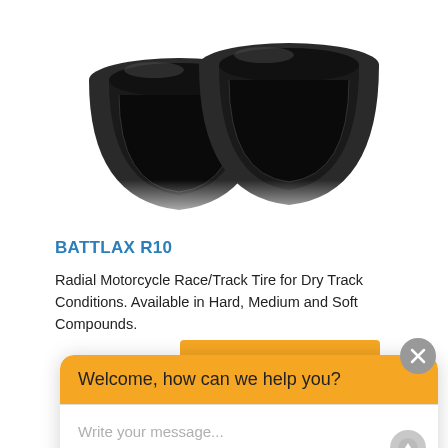[Figure (photo): Two black motorcycle tires upright, tops visible against white background]
BATTLAX R10
Radial Motorcycle Race/Track Tire for Dry Track Conditions. Available in Hard, Medium and Soft Compounds.
[Figure (screenshot): Orange 'View Tires »' button]
[Figure (screenshot): Chat widget overlay with orange header 'Welcome, how can we help you?' and white input area with placeholder 'Write your message...' and a close X button]
[Figure (photo): Motorcycle tire tread bottom partial view]